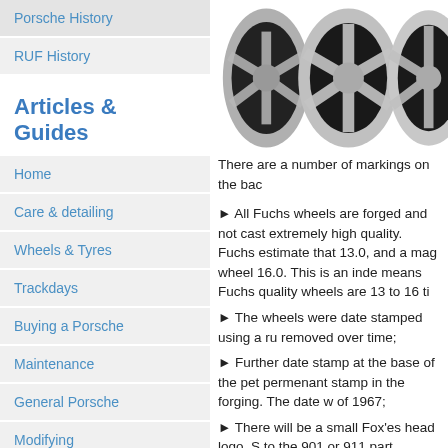Porsche History
RUF History
Articles & Guides
Home
Care & detailing
Wheels & Tyres
Trackdays
Buying a Porsche
Maintenance
General Porsche
Modifying
Technical
All Articles
[Figure (photo): Partial tire with text ANNEL P10 visible at bottom left of page]
[Figure (photo): Three Fuchs-style alloy wheels shown from the back, in silver/black, upper right area of page]
There are a number of markings on the bac
► All Fuchs wheels are forged and not cast extremely high quality. Fuchs estimate that 13.0, and a mag wheel 16.0. This is an inde means Fuchs quality wheels are 13 to 16 ti
► The wheels were date stamped using a ru removed over time;
► Further date stamp at the base of the pet permenant stamp in the forging. The date w of 1967;
► There will be a small Fox'es head logo. S to the 901 or 911 part number. If the fox hea